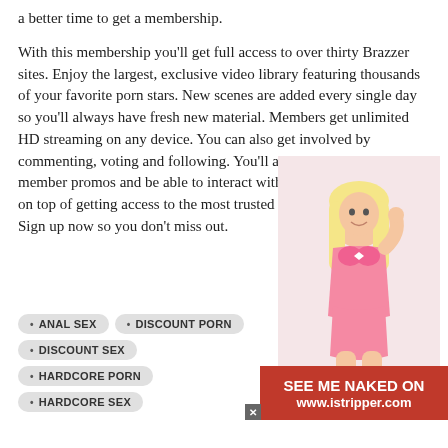a better time to get a membership.
With this membership you'll get full access to over thirty Brazzer sites. Enjoy the largest, exclusive video library featuring thousands of your favorite porn stars. New scenes are added every single day so you'll always have fresh new material. Members get unlimited HD streaming on any device. You can also get involved by commenting, voting and following. You'll also get exclusive member promos and be able to interact with porn stars. All of that on top of getting access to the most trusted porn site in the business. Sign up now so you don't miss out.
[Figure (photo): Photo of a blonde woman in a pink outfit, partially obscured by a promotional banner]
ANAL SEX
DISCOUNT PORN
DISCOUNT SEX
HARDCORE PORN
HARDCORE SEX
SEE ME NAKED ON www.istripper.com